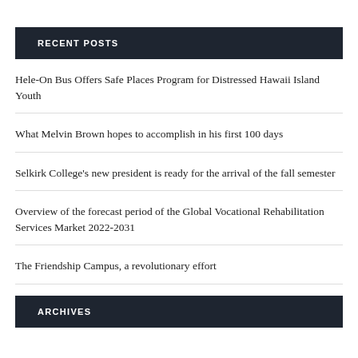RECENT POSTS
Hele-On Bus Offers Safe Places Program for Distressed Hawaii Island Youth
What Melvin Brown hopes to accomplish in his first 100 days
Selkirk College's new president is ready for the arrival of the fall semester
Overview of the forecast period of the Global Vocational Rehabilitation Services Market 2022-2031
The Friendship Campus, a revolutionary effort
ARCHIVES